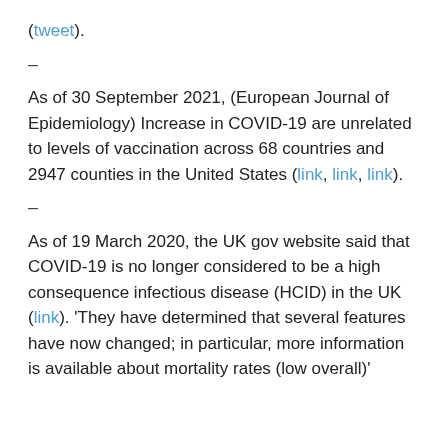(tweet).
–
As of 30 September 2021, (European Journal of Epidemiology) Increase in COVID-19 are unrelated to levels of vaccination across 68 countries and 2947 counties in the United States (link, link, link).
–
As of 19 March 2020, the UK gov website said that COVID-19 is no longer considered to be a high consequence infectious disease (HCID) in the UK (link). 'They have determined that several features have now changed; in particular, more information is available about mortality rates (low overall)'